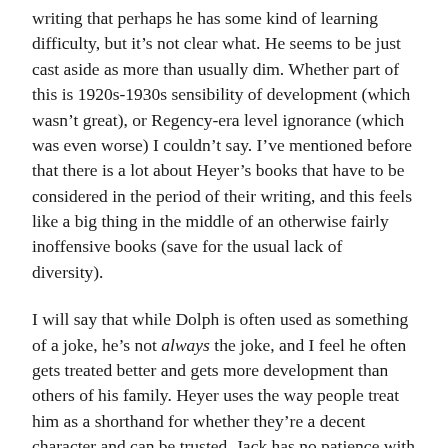writing that perhaps he has some kind of learning difficulty, but it’s not clear what. He seems to be just cast aside as more than usually dim. Whether part of this is 1920s-1930s sensibility of development (which wasn’t great), or Regency-era level ignorance (which was even worse) I couldn’t say. I’ve mentioned before that there is a lot about Heyer’s books that have to be considered in the period of their writing, and this feels like a big thing in the middle of an otherwise fairly inoffensive books (save for the usual lack of diversity).
I will say that while Dolph is often used as something of a joke, he’s not always the joke, and I feel he often gets treated better and gets more development than others of his family. Heyer uses the way people treat him as a shorthand for whether they’re a decent character and can be trusted. Jack has no patience with him at all, while Dolph’s mother tries to bully and control him. Freddy and Kit...